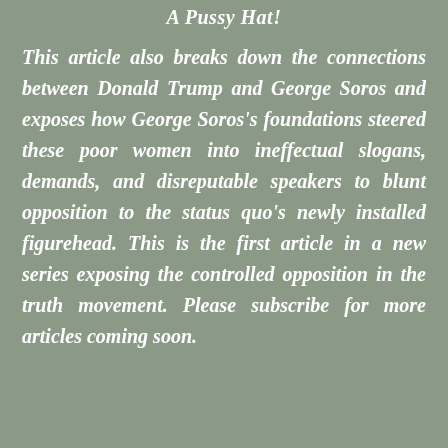A Pussy Hat!
This article also breaks down the connections between Donald Trump and George Soros and exposes how George Soros's foundations steered these poor women into ineffectual slogans, demands, and disreputable speakers to blunt opposition to the status quo's newly installed figurehead. This is the first article in a new series exposing the controlled opposition in the truth movement. Please subscribe for more articles coming soon.